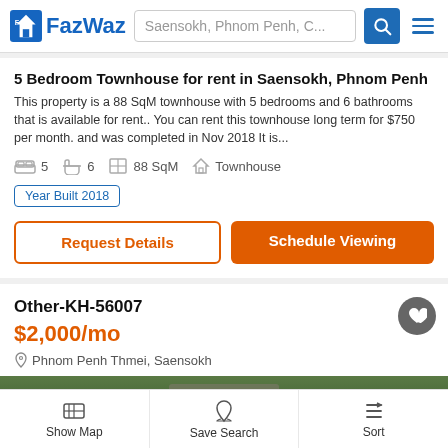FazWaz — Saensokh, Phnom Penh, C...
5 Bedroom Townhouse for rent in Saensokh, Phnom Penh
This property is a 88 SqM townhouse with 5 bedrooms and 6 bathrooms that is available for rent.. You can rent this townhouse long term for $750 per month. and was completed in Nov 2018 It is...
5 bedrooms | 6 bathrooms | 88 SqM | Townhouse
Year Built 2018
Request Details | Schedule Viewing
Other-KH-56007
$2,000/mo
Phnom Penh Thmei, Saensokh
[Figure (photo): Exterior photo of property listing, partially visible, showing building facade with trees]
Show Map | Save Search | Sort